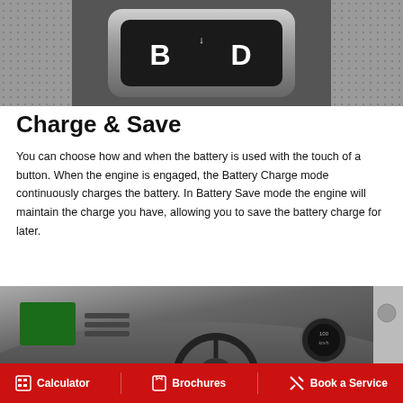[Figure (photo): Close-up of a car gear selector panel showing B and D buttons with chrome bezel, on a textured background]
Charge & Save
You can choose how and when the battery is used with the touch of a button. When the engine is engaged, the Battery Charge mode continuously charges the battery. In Battery Save mode the engine will maintain the charge you have, allowing you to save the battery charge for later.
[Figure (photo): Car interior showing dashboard, steering wheel, and infotainment screen]
Calculator  Brochures  Book a Service